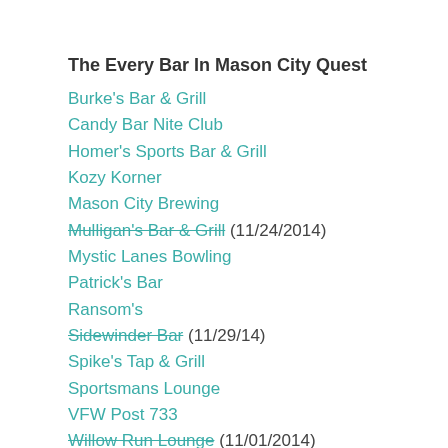The Every Bar In Mason City Quest
Burke's Bar & Grill
Candy Bar Nite Club
Homer's Sports Bar & Grill
Kozy Korner
Mason City Brewing
Mulligan's Bar & Grill (11/24/2014)
Mystic Lanes Bowling
Patrick's Bar
Ransom's
Sidewinder Bar (11/29/14)
Spike's Tap & Grill
Sportsmans Lounge
VFW Post 733
Willow Run Lounge (11/01/2014)
Wise Guys Sports Pub (11/08/2014)
Restaurant/Hotel Bars